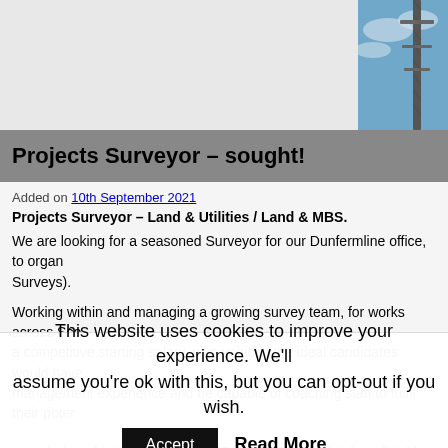[Figure (photo): Background banner area with a photo of a utility/survey pole against a blue sky in the upper right corner]
Projects Surveyor – sought!
Added on 10th September 2021
Projects Surveyor – Land & Utilities / Land & MBS.
We are looking for a seasoned Surveyor for our Dunfermline office, to organ... Surveys).
Working within and managing a growing survey team, for works across Sco... a competitive starting salary, plus vehicle, the ideal candidates would have management experience and be capable of coaching staff to fulfil their poter...
Knowledge of Leica equipment (TS, GPS, GPR etc) is beneficial but not ess...
This website uses cookies to improve your experience. We'll assume you're ok with this, but you can opt-out if you wish.
Accept   Read More